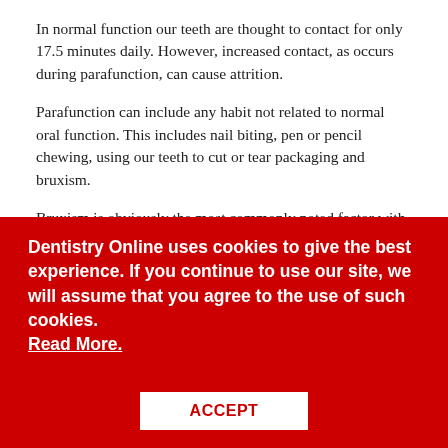In normal function our teeth are thought to contact for only 17.5 minutes daily. However, increased contact, as occurs during parafunction, can cause attrition.
Parafunction can include any habit not related to normal oral function. This includes nail biting, pen or pencil chewing, using our teeth to cut or tear packaging and bruxism.
Bruxism is obviously the most commonly noted factor with relation to attrition. But the others are certainly worth bearing in mind (as causes of abrasion), especially for localised defects.
It is important to note that bruxism can occur both at night or
Dentistry Online uses cookies to give the best experience. If you continue to use our site, we will assume that you agree to the use of such cookies. Read More.
ACCEPT